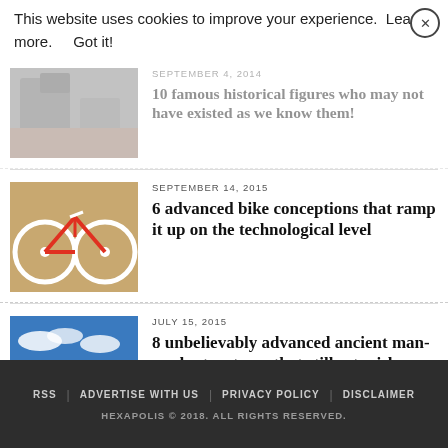This website uses cookies to improve your experience.  Learn more.     Got it!
SEPTEMBER 4, 2014
10 famous historical figures who may not have existed as we know them!
SEPTEMBER 14, 2015
6 advanced bike conceptions that ramp it up on the technological level
JULY 15, 2015
8 unbelievably advanced ancient man-made structures that still astonish us
RSS | ADVERTISE WITH US | PRIVACY POLICY | DISCLAIMER
HEXAPOLIS © 2018. ALL RIGHTS RESERVED.